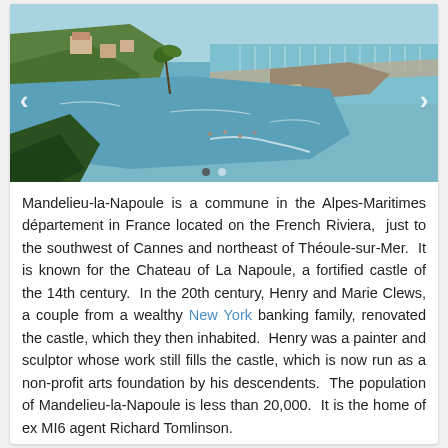[Figure (photo): Coastal beach scene of Mandelieu-la-Napoule showing a bay with sandy beach, rocks, green hillside with buildings, and a marina with many boats in the background under a blue sky. Navigation arrows on left and right sides, dot indicators at bottom.]
Mandelieu-la-Napoule is a commune in the Alpes-Maritimes département in France located on the French Riviera,  just to the southwest of Cannes and northeast of Théoule-sur-Mer.  It is known for the Chateau of La Napoule, a fortified castle of the 14th century.  In the 20th century, Henry and Marie Clews, a couple from a wealthy New York banking family, renovated the castle, which they then inhabited.  Henry was a painter and sculptor whose work still fills the castle, which is now run as a non-profit arts foundation by his descendents.  The population of Mandelieu-la-Napoule is less than 20,000.  It is the home of ex MI6 agent Richard Tomlinson.